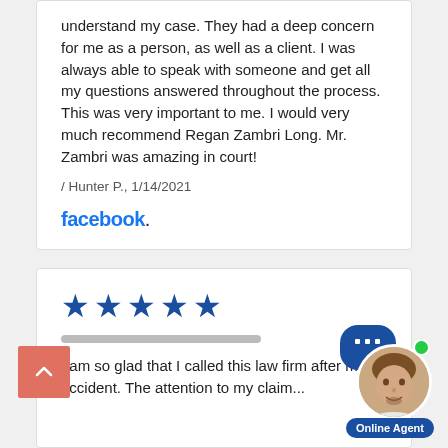understand my case. They had a deep concern for me as a person, as well as a client. I was always able to speak with someone and get all my questions answered throughout the process. This was very important to me. I would very much recommend Regan Zambri Long. Mr. Zambri was amazing in court!
/ Hunter P., 1/14/2021
[Figure (logo): Facebook logo in blue text]
[Figure (other): Five blue star rating icons]
I am so glad that I called this law firm after my accident. The attention to my claim...